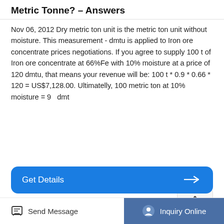Metric Tonne? – Answers
Nov 06, 2012 Dry metric ton unit is the metric ton unit without moisture. This measurement - dmtu is applied to Iron ore concentrate prices negotiations. If you agree to supply 100 t of Iron ore concentrate at 66%Fe with 10% moisture at a price of 120 dmtu, that means your revenue will be: 100 t * 0.9 * 0.66 * 120 = US$7,128.00. Ultimatelly, 100 metric ton at 10% moisture = 90 dmt
[Figure (other): Blue 'Get Details' button with right arrow]
[Figure (other): Rounded card outline (blue border, white interior) partially visible]
Send Message   Inquiry Online